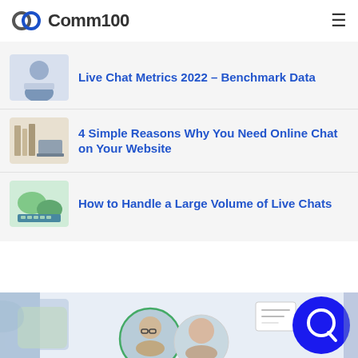Comm100
Live Chat Metrics 2022 – Benchmark Data
4 Simple Reasons Why You Need Online Chat on Your Website
How to Handle a Large Volume of Live Chats
[Figure (photo): Bottom banner with two people portraits, decorative geometric shapes in blue and green, a whiteboard graphic, and a blue circular Comm100 icon on the right]